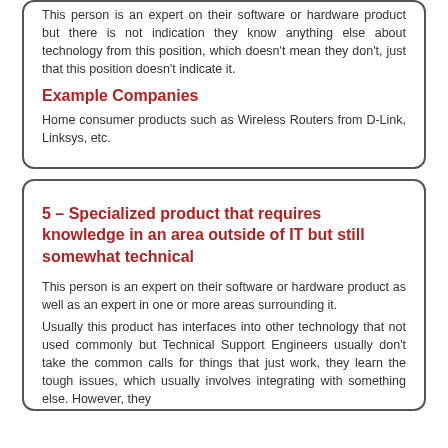This person is an expert on their software or hardware product but there is not indication they know anything else about technology from this position, which doesn't mean they don't, just that this position doesn't indicate it.
Example Companies
Home consumer products such as Wireless Routers from D-Link, Linksys, etc.
5 – Specialized product that requires knowledge in an area outside of IT but still somewhat technical
This person is an expert on their software or hardware product as well as an expert in one or more areas surrounding it.
Usually this product has interfaces into other technology that not used commonly but Technical Support Engineers usually don't take the common calls for things that just work, they learn the tough issues, which usually involves integrating with something else. However, they